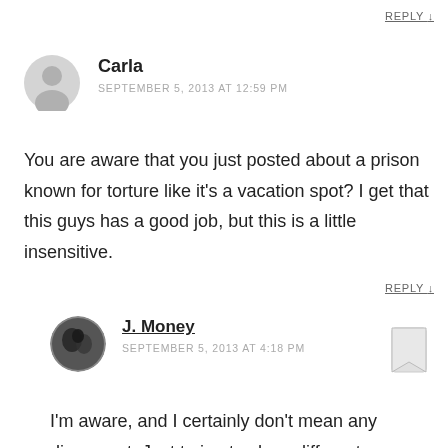REPLY ↓
[Figure (illustration): Generic grey user avatar icon for commenter Carla]
Carla
SEPTEMBER 5, 2013 AT 12:59 PM
You are aware that you just posted about a prison known for torture like it's a vacation spot? I get that this guys has a good job, but this is a little insensitive.
REPLY ↓
[Figure (photo): Small circular profile photo of J. Money, appears to be a dark/silhouette style image]
J. Money
SEPTEMBER 5, 2013 AT 4:18 PM
[Figure (illustration): Bookmark/flag icon in light grey, top right of reply area]
I'm aware, and I certainly don't mean any disrespect. Just trying to show different